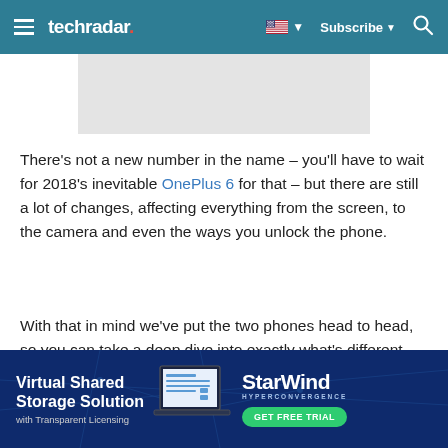techradar
[Figure (other): Gray advertisement placeholder rectangle]
There's not a new number in the name – you'll have to wait for 2018's inevitable OnePlus 6 for that – but there are still a lot of changes, affecting everything from the screen, to the camera and even the ways you unlock the phone.
With that in mind we've put the two phones head to head, so you can take a deep dive into exactly what's different and what's the same.
[Figure (other): StarWind Hyperconvergence advertisement banner: Virtual Shared Storage Solution with Transparent Licensing. GET FREE TRIAL button.]